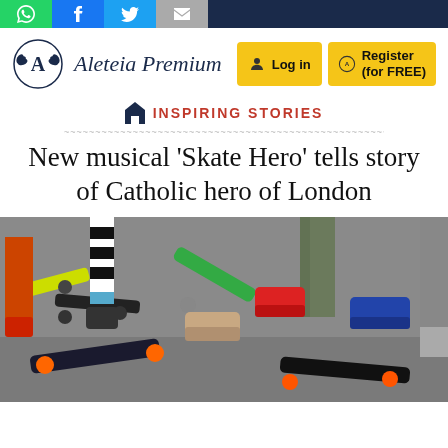Aleteia Premium — social share buttons and navigation bar
[Figure (logo): Aleteia Premium logo with laurel wreath emblem and italic text]
INSPIRING STORIES
New musical ‘Skate Hero’ tells story of Catholic hero of London
[Figure (photo): Close-up photo of skateboards and sneakers on pavement, multiple skaters standing around with colorful boards including green and black skateboard, orange wheels visible]